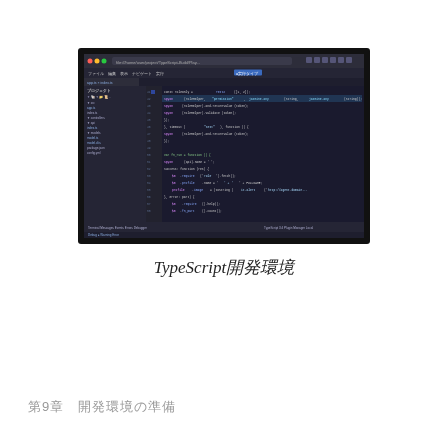[Figure (screenshot): Screenshot of a code editor (likely Visual Studio Code or WebStorm) showing TypeScript code with a file explorer panel on the left and code editor on the right displaying JavaScript/TypeScript code with syntax highlighting on a dark theme.]
TypeScript開発環境
第9章　開発環境の準備